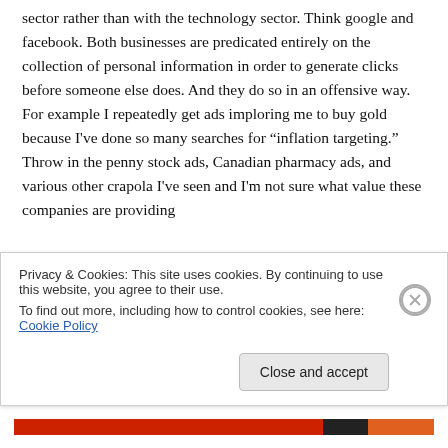sector rather than with the technology sector. Think google and facebook. Both businesses are predicated entirely on the collection of personal information in order to generate clicks before someone else does. And they do so in an offensive way. For example I repeatedly get ads imploring me to buy gold because I've done so many searches for “inflation targeting.” Throw in the penny stock ads, Canadian pharmacy ads, and various other crapola I've seen and I'm not sure what value these companies are providing
Privacy & Cookies: This site uses cookies. By continuing to use this website, you agree to their use.
To find out more, including how to control cookies, see here: Cookie Policy